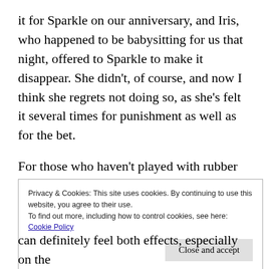it for Sparkle on our anniversary, and Iris, who happened to be babysitting for us that night, offered to Sparkle to make it disappear. She didn't, of course, and now I think she regrets not doing so, as she's felt it several times for punishment as well as for the bet.
For those who haven't played with rubber implements before, they are unique. For one thing, this paddle is quite heavy, so at first glance, you'd expect it to be a thuddy implement. Not
Privacy & Cookies: This site uses cookies. By continuing to use this website, you agree to their use.
To find out more, including how to control cookies, see here: Cookie Policy
Close and accept
can definitely feel both effects, especially on the